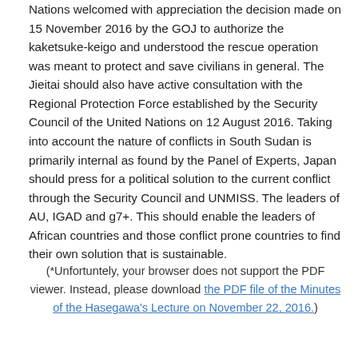Nations welcomed with appreciation the decision made on 15 November 2016 by the GOJ to authorize the kaketsuke-keigo and understood the rescue operation was meant to protect and save civilians in general. The Jieitai should also have active consultation with the Regional Protection Force established by the Security Council of the United Nations on 12 August 2016. Taking into account the nature of conflicts in South Sudan is primarily internal as found by the Panel of Experts, Japan should press for a political solution to the current conflict through the Security Council and UNMISS. The leaders of AU, IGAD and g7+. This should enable the leaders of African countries and those conflict prone countries to find their own solution that is sustainable.
(*Unfortuntely, your browser does not support the PDF viewer. Instead, please download the PDF file of the Minutes of the Hasegawa's Lecture on November 22, 2016.)